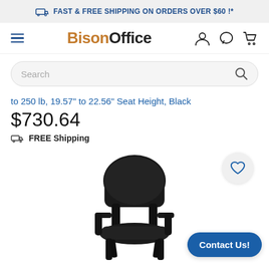FAST & FREE SHIPPING ON ORDERS OVER $60 !*
[Figure (screenshot): BisonOffice logo with hamburger menu, user icon, chat icon, and cart icon navigation bar]
[Figure (screenshot): Search bar with placeholder text 'Search' and search icon]
to 250 lb, 19.57" to 22.56" Seat Height, Black
$730.64
FREE Shipping
[Figure (photo): Black office guest chair with armrests and padded seat and back, shown on white background. A heart/wishlist button is visible to the upper right and a 'Contact Us!' button at the bottom right.]